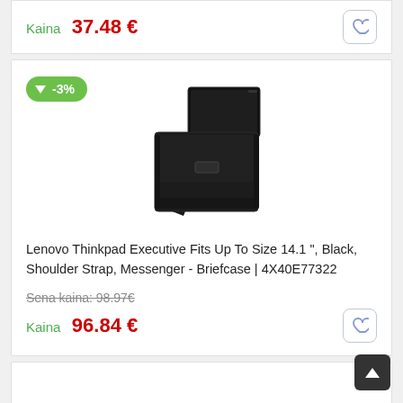Kaina  37.48 €
[Figure (photo): Lenovo Thinkpad Executive laptop messenger bag, black, with shoulder strap, shown with laptop inside]
Lenovo Thinkpad Executive Fits Up To Size 14.1 ", Black, Shoulder Strap, Messenger - Briefcase | 4X40E77322
Sena kaina: 98.97€
Kaina  96.84 €